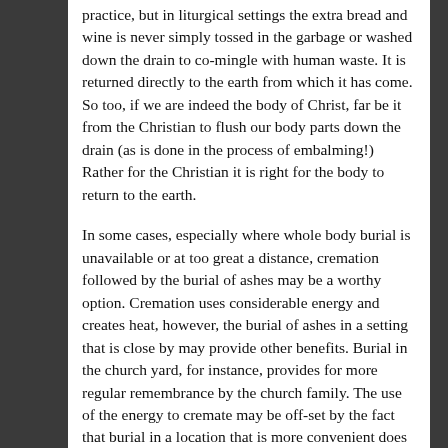practice, but in liturgical settings the extra bread and wine is never simply tossed in the garbage or washed down the drain to co-mingle with human waste. It is returned directly to the earth from which it has come. So too, if we are indeed the body of Christ, far be it from the Christian to flush our body parts down the drain (as is done in the process of embalming!) Rather for the Christian it is right for the body to return to the earth.
In some cases, especially where whole body burial is unavailable or at too great a distance, cremation followed by the burial of ashes may be a worthy option. Cremation uses considerable energy and creates heat, however, the burial of ashes in a setting that is close by may provide other benefits. Burial in the church yard, for instance, provides for more regular remembrance by the church family. The use of the energy to cremate may be off-set by the fact that burial in a location that is more convenient does not require friends and family